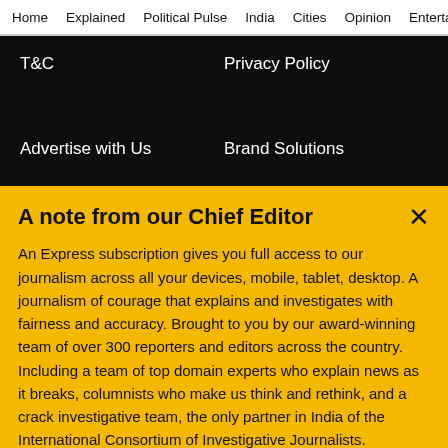Home  Explained  Political Pulse  India  Cities  Opinion  Entertainment
T&C
Privacy Policy
Advertise with Us
Brand Solutions
A note from our Chief Editor
An Express subscription gives you full access to our journalism across all your devices, mobile, tablet, desktop. A journalism of courage that explains and investigates with fairness and accuracy. Brought to you by our award-winning team of over 300 reporters and editors across the country. Including a team of top domain experts who explain news as it breaks, columnists who make us think and rethink, and a crack investigative team, the only partner in India of the International Consortium of Investigative Journalists. Journalism
Buy Now →